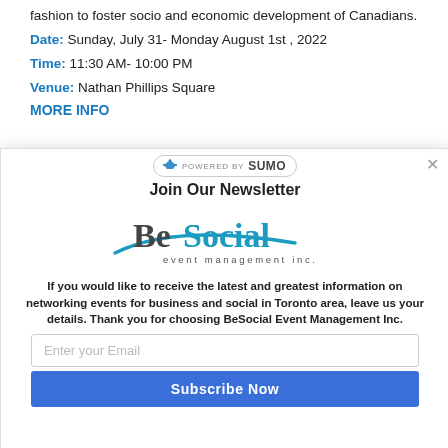fashion to foster socio and economic development of Canadians.
Date: Sunday, July 31- Monday August 1st , 2022
Time: 11:30 AM- 10:00 PM
Venue: Nathan Phillips Square
MORE INFO
[Figure (logo): POWERED BY SUMO badge/logo in a rounded rectangle]
× (close button)
Join Our Newsletter
[Figure (logo): BeSocial event management inc. logo with teal swoosh and stylized text]
If you would like to receive the latest and greatest information on networking events for business and social in Toronto area, leave us your details. Thank you for choosing BeSocial Event Management Inc.
Enter your Email
Subscribe Now